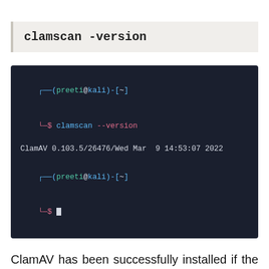clamscan -version
[Figure (screenshot): Terminal window showing: (preeti@kali)-[~] $ clamscan --version, ClamAV 0.103.5/26476/Wed Mar  9 14:53:07 2022, then a new prompt (preeti@kali)-[~] $]
ClamAV has been successfully installed if the above command returns the version. ClamTk is a ClamAV frontend. We can install it using Terminal:
↑ SCROLL TO TOP   clamtk